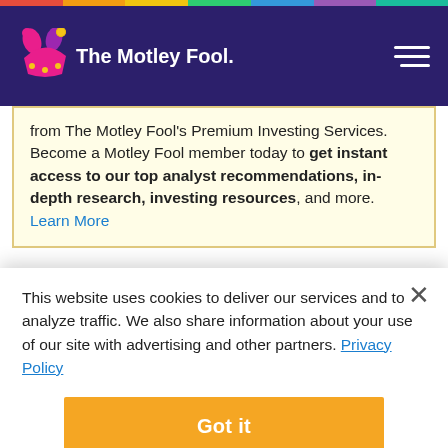The Motley Fool
from The Motley Fool's Premium Investing Services. Become a Motley Fool member today to get instant access to our top analyst recommendations, in-depth research, investing resources, and more. Learn More
How republican presidential
This website uses cookies to deliver our services and to analyze traffic. We also share information about your use of our site with advertising and other partners. Privacy Policy
Got it
Cookie Settings